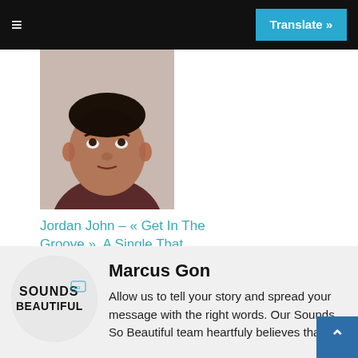≡   Translate »
[Figure (photo): Portrait photo of a man in a dark jacket looking upward]
Jordan John – « Get In The Groove », A Single That Sounds Like A Party
12 juin 2019
[Figure (logo): Sounds So Beautiful logo — stylized bold text with 'so' badge]
Marcus Gon
Allow us to tell your story and spread your message with the right words. Our Sounds So Beautiful team heartfuly believes that it is